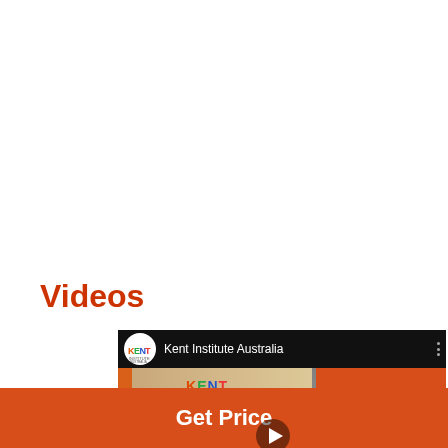Videos
[Figure (screenshot): Kent Institute Australia YouTube video thumbnail showing reception area with Kent Institute signage, a staff member, and an orange overlay box reading WELCOME TO KENT INSTITUTE AUSTRALIA. The video top bar shows the Kent logo and channel name 'Kent Institute Australia'.]
< navigation arrow left
> navigation arrow right
Get Price